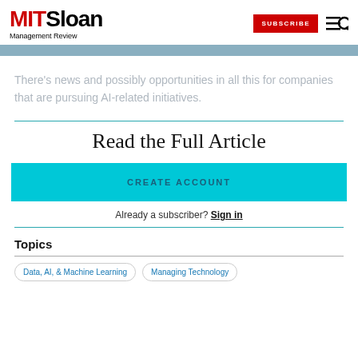MIT Sloan Management Review — SUBSCRIBE
There’s news and possibly opportunities in all this for companies that are pursuing AI-related initiatives.
Read the Full Article
CREATE ACCOUNT
Already a subscriber? Sign in
Topics
Data, AI, & Machine Learning   Managing Technology